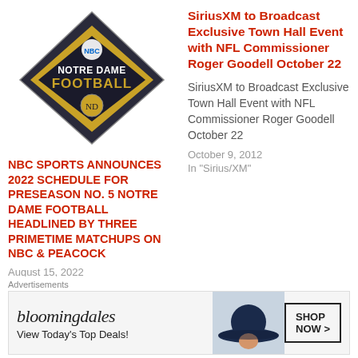[Figure (logo): Notre Dame Football NBC Sports diamond-shaped logo with gold lettering]
NBC SPORTS ANNOUNCES 2022 SCHEDULE FOR PRESEASON NO. 5 NOTRE DAME FOOTBALL HEADLINED BY THREE PRIMETIME MATCHUPS ON NBC & PEACOCK
August 15, 2022
In "NBC"
SiriusXM to Broadcast Exclusive Town Hall Event with NFL Commissioner Roger Goodell October 22
SiriusXM to Broadcast Exclusive Town Hall Event with NFL Commissioner Roger Goodell October 22
October 9, 2012
In "Sirius/XM"
SiriusXM to Broadcast
Advertisements
[Figure (photo): Bloomingdales advertisement with woman in hat. Text: bloomingdales, View Today's Top Deals!, SHOP NOW >]